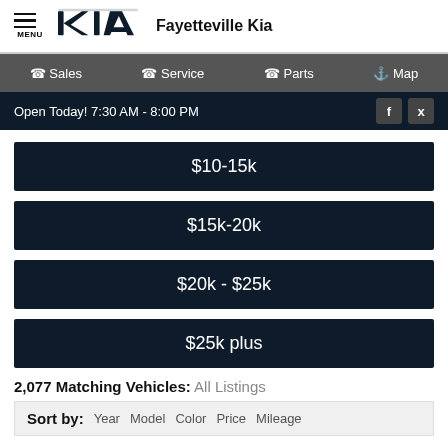Fayetteville Kia
Sales | Service | Parts | Map
Open Today! 7:30 AM - 8:00 PM
$10-15k
$15k-20k
$20k - $25k
$25k plus
2,077 Matching Vehicles: All Listings
Sort by: Year Model Color Price Mileage